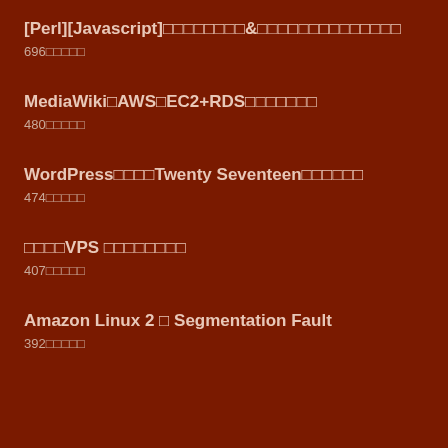[Perl][Javascript]□□□□□□□□&□□□□□□□□□□□□□□
696□□□□□
MediaWiki□AWS□EC2+RDS□□□□□□□□□
480□□□□□
WordPress□□□□Twenty Seventeen□□□□□□□□
474□□□□□
□□□□VPS □□□□□□□□□
407□□□□□
Amazon Linux 2 □ Segmentation Fault
392□□□□□